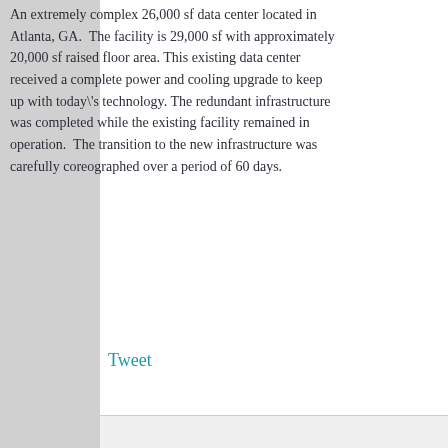An extremely complex 26,000 sf data center located in Atlanta, GA. The facility is 29,000 sf with approximately 20,000 sf raised floor area. This existing data center received a complete power and cooling upgrade to keep up with today\'s technology. The redundant infrastructure was completed while the existing facility remained in operation. The transition to the new infrastructure was carefully coreographed over a period of 60 days.
Tweet
[Figure (logo): Partial teal/cyan letter V logo visible at bottom right]